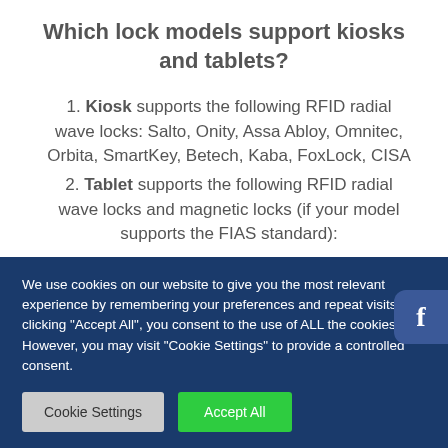Which lock models support kiosks and tablets?
1. Kiosk supports the following RFID radial wave locks: Salto, Onity, Assa Abloy, Omnitec, Orbita, SmartKey, Betech, Kaba, FoxLock, CISA
2. Tablet supports the following RFID radial wave locks and magnetic locks (if your model supports the FIAS standard):
Salto, Onity, Assa Abloy, Omnitec, Orbit, SmartKey,
We use cookies on our website to give you the most relevant experience by remembering your preferences and repeat visits. By clicking "Accept All", you consent to the use of ALL the cookies. However, you may visit "Cookie Settings" to provide a controlled consent.
Cookie Settings | Accept All